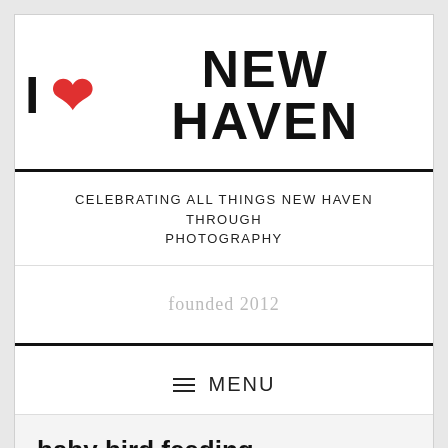I ❤ NEW HAVEN
CELEBRATING ALL THINGS NEW HAVEN THROUGH PHOTOGRAPHY
founded 2012
≡ MENU
baby bird feeding